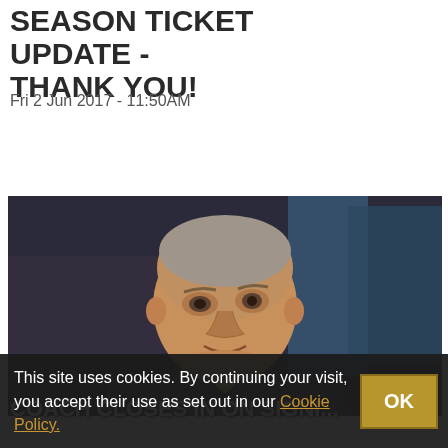SEASON TICKET UPDATE - THANK YOU!
Fri 2 Jun 2017 - 11:50AM
READ MORE
[Figure (photo): Close-up photo of a bald middle-aged man (a sports coach) looking to the side, with blurred background showing sports arena elements]
COACH CLOSES IN ON SIGNING...
This site uses cookies. By continuing your visit, you accept their use as set out in our Cookie Policy.
OK